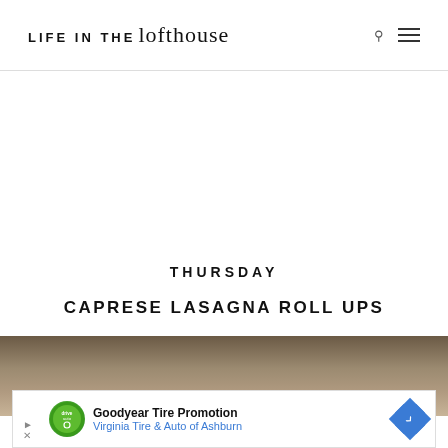LIFE IN THE lofthouse
THURSDAY
CAPRESE LASAGNA ROLL UPS
[Figure (photo): Food photo showing caprese lasagna roll ups, partial view at bottom of page]
[Figure (other): Advertisement banner: Goodyear Tire Promotion - Virginia Tire & Auto of Ashburn]